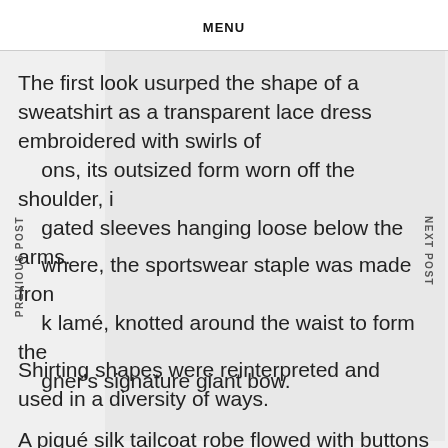MENU
The first look usurped the shape of a sweatshirt as a transparent lace dress embroidered with swirls of ons, its outsized form worn off the shoulder, i gated sleeves hanging loose below the arms.
where, the sportswear staple was made from k lamé, knotted around the waist to form the gner's signature giant bow.
Shirting shapes were reinterpreted and used in a diversity of ways.
A piqué silk tailcoat robe flowed with buttons down the back, while collar shapes were used to create